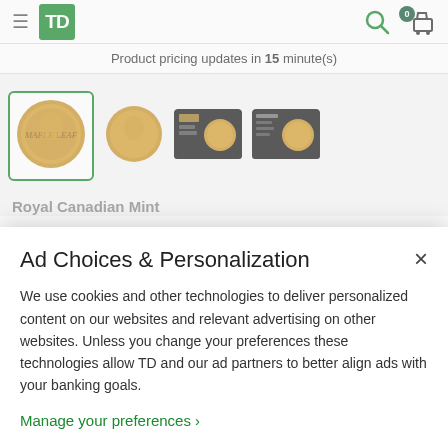TD Bank navigation bar with logo, search icon, and cart (0 items)
Product pricing updates in 15 minute(s)
[Figure (photo): Four product thumbnails of Royal Canadian Mint gold coins and packaged coins; first thumbnail is selected with green border]
Royal Canadian Mint
Ad Choices & Personalization
We use cookies and other technologies to deliver personalized content on our websites and relevant advertising on other websites. Unless you change your preferences these technologies allow TD and our ad partners to better align ads with your banking goals.
Manage your preferences >